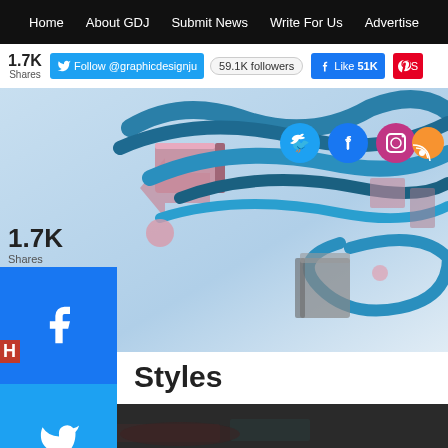Home | About GDJ | Submit News | Write For Us | Advertise
[Figure (screenshot): Social bar with Twitter follow button showing 59.1K followers, Facebook Like 51K, Pinterest share button, and 1.7K shares count]
[Figure (illustration): Hero banner with 3D graphic design lettering in blue/teal cursive style with social media icons (Twitter, Facebook, Instagram, RSS) on a light blue gradient background]
[Figure (screenshot): Left side floating share buttons: Facebook (blue), Twitter (light blue), LinkedIn (dark blue), Pinterest (red), and more (+) button in grey]
Styles
[Figure (photo): Bottom dark grey image area showing partial view of a photograph]